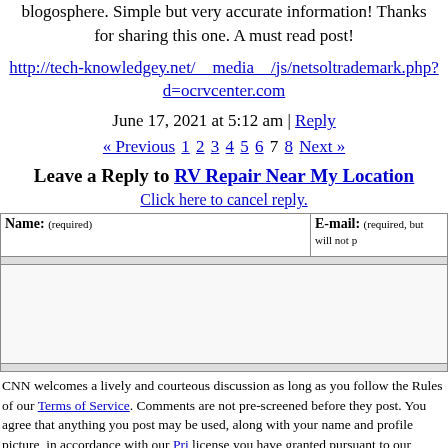blogosphere. Simple but very accurate information! Thanks for sharing this one. A must read post!
http://tech-knowledgey.net/__media__/js/netsoltrademark.php?d=ocrvcenter.com
June 17, 2021 at 5:12 am | Reply
« Previous 1 2 3 4 5 6 7 8 Next »
Leave a Reply to RV Repair Near My Location
Click here to cancel reply.
| Name: (required) | E-mail: (required, but will not be published) |
| --- | --- |
|  |
CNN welcomes a lively and courteous discussion as long as you follow the Rules of our Terms of Service. Comments are not pre-screened before they post. You agree that anything you post may be used, along with your name and profile picture, in accordance with our Privacy Policy and the license you have granted pursuant to our Terms of Service.